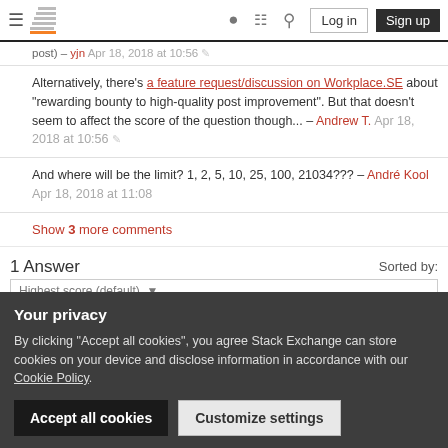Stack Exchange navigation bar with hamburger menu, logo, help, chat, search, Log in, Sign up buttons
post) – yjn Apr 18, 2018 at 10:56 [edit]
Alternatively, there's a feature request/discussion on Workplace.SE about "rewarding bounty to high-quality post improvement". But that doesn't seem to affect the score of the question though... – Andrew T. Apr 18, 2018 at 10:56 [edit]
And where will be the limit? 1, 2, 5, 10, 25, 100, 21034??? – André Kool Apr 18, 2018 at 11:08
Show 3 more comments
1 Answer
Sorted by:
Your privacy
By clicking "Accept all cookies", you agree Stack Exchange can store cookies on your device and disclose information in accordance with our Cookie Policy.
Accept all cookies   Customize settings
it beyond recognition.